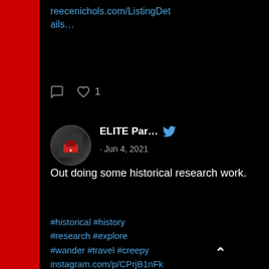reecenichols.com/ListingDetails…
[Figure (screenshot): Tweet action icons: comment and heart with count 1]
[Figure (screenshot): Twitter profile avatar for ELITE Par...]
ELITE Par… · Jun 4, 2021
Out doing some historical research work.
#historical #history #research #explore #wander #travel #creepy instagram.com/p/CPrjB1nFkXV/…
[Figure (screenshot): Instagram link card showing an old abandoned house with label instagra... Rob Garcia ...]
[Figure (screenshot): Tweet action icons: comment and heart with count 1]